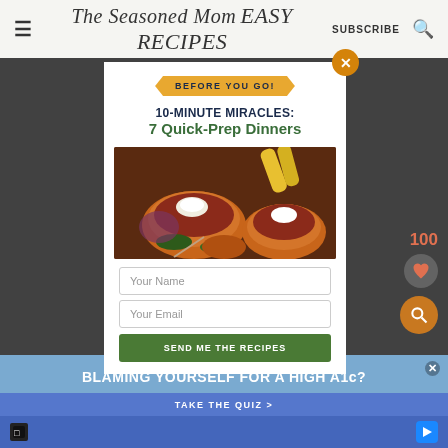The Seasoned Mom — EASY RECIPES — SUBSCRIBE
[Figure (screenshot): Modal popup overlay on The Seasoned Mom food blog website. Modal contains: 'BEFORE YOU GO!' banner, '10-MINUTE MIRACLES: 7 Quick-Prep Dinners' headline, photo of chili/soup bowls with toppings, Your Name and Your Email input fields, and a green SEND ME THE RECIPES button. Orange X close button top right.]
BEFORE YOU GO!
10-MINUTE MIRACLES: 7 Quick-Prep Dinners
Your Name
Your Email
SEND ME THE RECIPES
100
BLAMING YOURSELF FOR A HIGH A1c?
TAKE THE QUIZ >